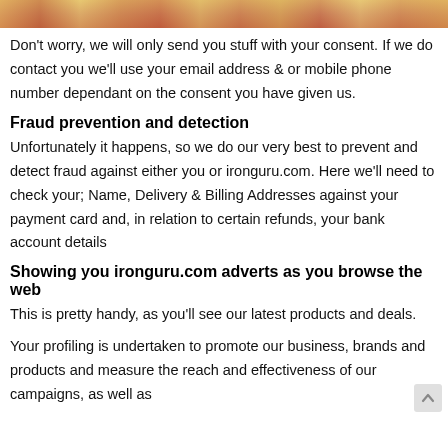[Figure (illustration): Partial decorative illustration strip at top of page, colorful character artwork cropped]
Don't worry, we will only send you stuff with your consent. If we do contact you we'll use your email address & or mobile phone number dependant on the consent you have given us.
Fraud prevention and detection
Unfortunately it happens, so we do our very best to prevent and detect fraud against either you or ironguru.com. Here we'll need to check your; Name, Delivery & Billing Addresses against your payment card and, in relation to certain refunds, your bank account details
Showing you ironguru.com adverts as you browse the web
This is pretty handy, as you'll see our latest products and deals.
Your profiling is undertaken to promote our business, brands and products and measure the reach and effectiveness of our campaigns, as well as